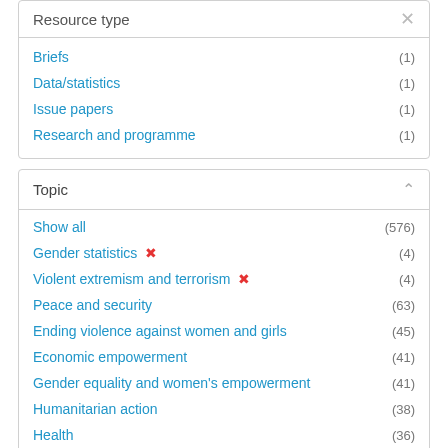Resource type
Briefs (1)
Data/statistics (1)
Issue papers (1)
Research and programme (1)
Topic
Show all (576)
Gender statistics ✕ (4)
Violent extremism and terrorism ✕ (4)
Peace and security (63)
Ending violence against women and girls (45)
Economic empowerment (41)
Gender equality and women's empowerment (41)
Humanitarian action (38)
Health (36)
COVID-19 (34)